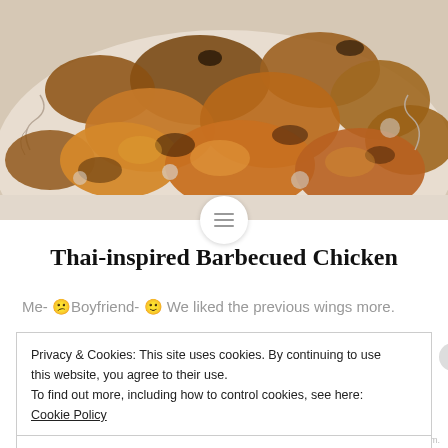[Figure (photo): Photo of Thai-inspired barbecued chicken wings piled on a decorative plate, golden-brown and charred, overhead view]
Thai-inspired Barbecued Chicken
Me- 😕 Boyfriend- 🙂 We liked the previous wings more.
Privacy & Cookies: This site uses cookies. By continuing to use this website, you agree to their use.
To find out more, including how to control cookies, see here: Cookie Policy
Close and accept